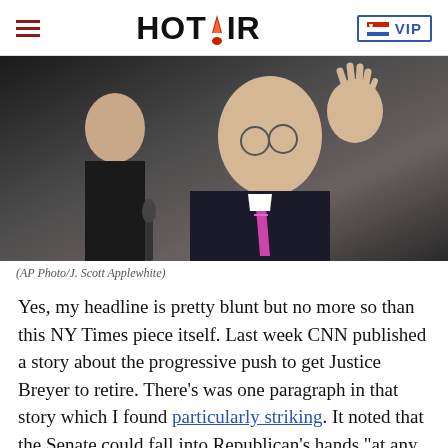HOT AIR  VIP
[Figure (photo): Two U.S. senators seated at a hearing; an older man in a suit with a pink striped tie raises his hand, while a woman sits behind him to the left.]
(AP Photo/J. Scott Applewhite)
Yes, my headline is pretty blunt but no more so than this NY Times piece itself. Last week CNN published a story about the progressive push to get Justice Breyer to retire. There's was one paragraph in that story which I found particularly striking. It noted that the Senate could fall into Republican's hands "at any moment" because "two members of the Democratic..."